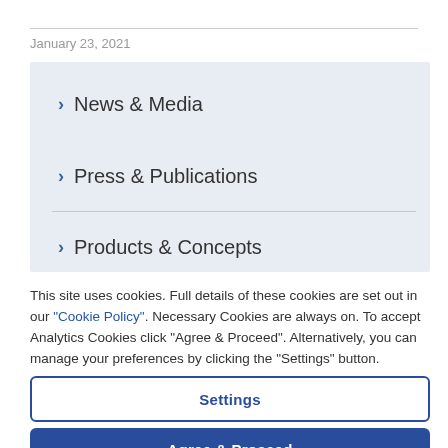January 23, 2021
> News & Media
> Press & Publications
> Products & Concepts
This site uses cookies. Full details of these cookies are set out in our "Cookie Policy". Necessary Cookies are always on. To accept Analytics Cookies click "Agree & Proceed". Alternatively, you can manage your preferences by clicking the "Settings" button.
Settings
Agree & Proceed